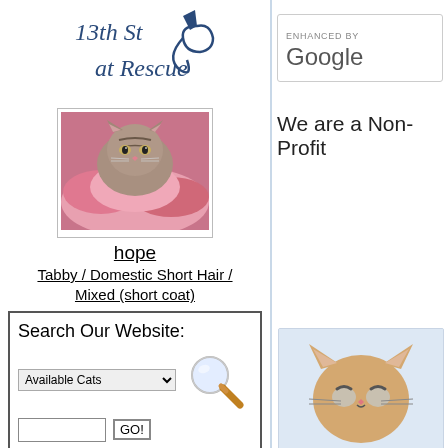[Figure (logo): 13th St Cat Rescue logo with cat silhouette in dark blue italic serif font]
[Figure (photo): Tabby kitten lying in pink blankets]
hope
Tabby / Domestic Short Hair / Mixed (short coat)
Search Our Website:
Enter keywords, and GO!
ENHANCED BY Google
We are a Non-Profit
[Figure (illustration): Cartoon cat illustration]